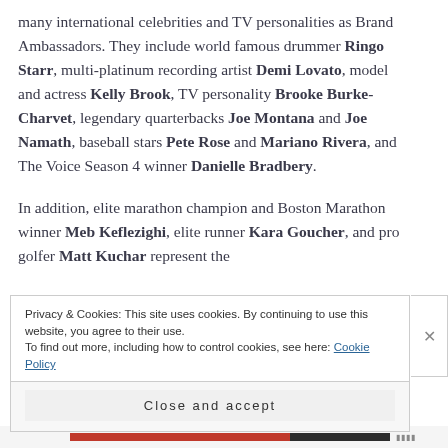many international celebrities and TV personalities as Brand Ambassadors. They include world famous drummer Ringo Starr, multi-platinum recording artist Demi Lovato, model and actress Kelly Brook, TV personality Brooke Burke-Charvet, legendary quarterbacks Joe Montana and Joe Namath, baseball stars Pete Rose and Mariano Rivera, and The Voice Season 4 winner Danielle Bradbery.
In addition, elite marathon champion and Boston Marathon winner Meb Keflezighi, elite runner Kara Goucher, and pro golfer Matt Kuchar represent the
Privacy & Cookies: This site uses cookies. By continuing to use this website, you agree to their use.
To find out more, including how to control cookies, see here: Cookie Policy
Close and accept